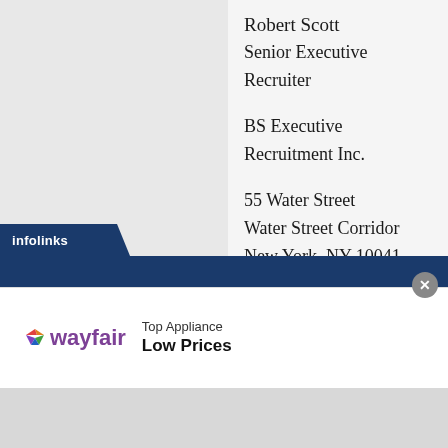Robert Scott
Senior Executive Recruiter

BS Executive Recruitment Inc.

55 Water Street
Water Street Corridor
New York, NY 10041, USA

http://www.bsexecutiverecruitment.com

+1-866-394-2709 x406
[Figure (screenshot): Infolinks advertisement banner with Wayfair ad showing 'Top Appliance Low Prices']